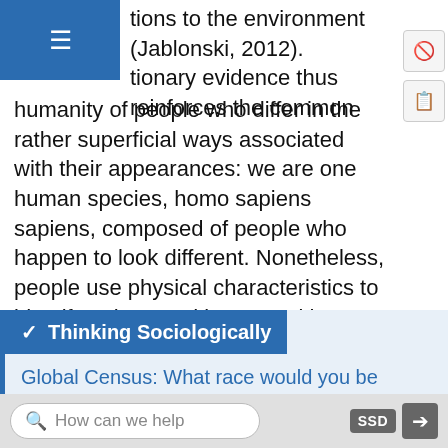tions to the environment (Jablonski, 2012). tionary evidence thus reinforces the common humanity of people who differ in the rather superficial ways associated with their appearances: we are one human species, homo sapiens sapiens, composed of people who happen to look different. Nonetheless, people use physical characteristics to identify, relate, and interact with one another.
Thinking Sociologically
Global Census: What race would you be somewhere else?
Visit Global Census: What race would you be somewhere else? to help you understand how race is classified differently depending on the country.